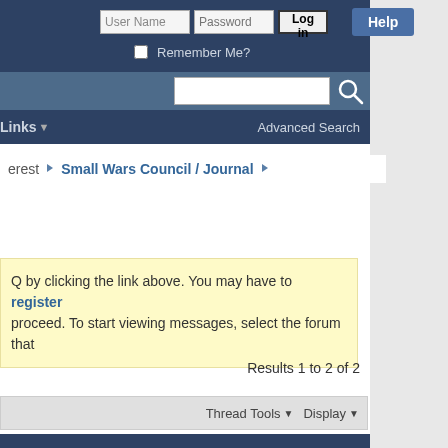User Name | Password | Log in | Help | Remember Me?
Advanced Search
Links
erest > Small Wars Council / Journal >
Q by clicking the link above. You may have to register proceed. To start viewing messages, select the forum that
Results 1 to 2 of 2
Thread Tools | Display